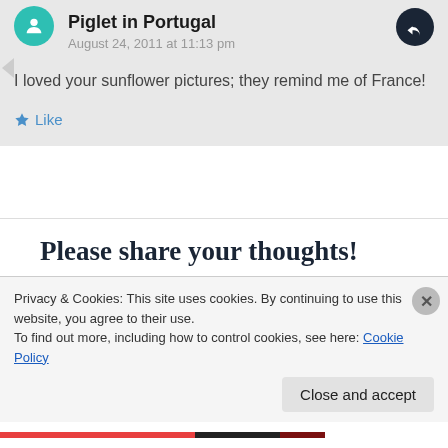Piglet in Portugal
August 24, 2011 at 11:13 pm
I loved your sunflower pictures; they remind me of France!
★ Like
Please share your thoughts!
Your email address will not be published. Required
Privacy & Cookies: This site uses cookies. By continuing to use this website, you agree to their use.
To find out more, including how to control cookies, see here: Cookie Policy
Close and accept